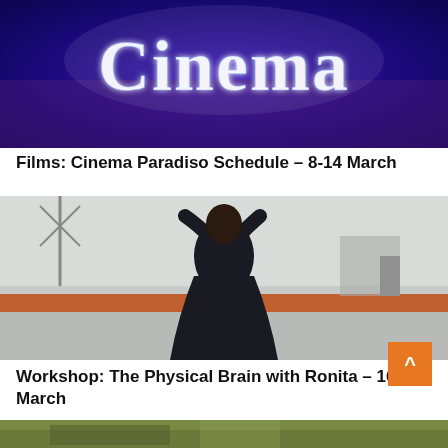[Figure (photo): A glowing blue neon 'Cinema' sign against a dark blue/purple background, partially cropped at top.]
Films: Cinema Paradiso Schedule – 8-14 March
[Figure (photo): A person in a dark flowing outfit viewed from behind, standing on what appears to a rooftop with industrial structures in background.]
Workshop: The Physical Brain with Ronita – 16-20 March
[Figure (photo): Partial view of a green/olive colored object, cropped at bottom of the page.]